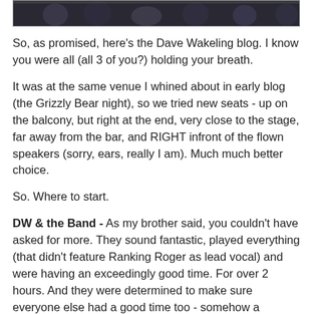[Figure (photo): A dark photograph showing several people, appears to be a cropped banner/header image of a group of people.]
So, as promised, here's the Dave Wakeling blog. I know you were all (all 3 of you?) holding your breath.
It was at the same venue I whined about in early blog (the Grizzly Bear night), so we tried new seats - up on the balcony, but right at the end, very close to the stage, far away from the bar, and RIGHT infront of the flown speakers (sorry, ears, really I am). Much much better choice.
So. Where to start.
DW & the Band - As my brother said, you couldn't have asked for more. They sound fantastic, played everything (that didn't feature Ranking Roger as lead vocal) and were having an exceedingly good time. For over 2 hours. And they were determined to make sure everyone else had a good time too - somehow a positive spin was put on everything (including a fight and some dodgy moments thanks to the monitor tech which I will touch on later) - which might have something to do with the super upbeat DW consuming a steady stream of Red Bull. It was an unbelievable love fest